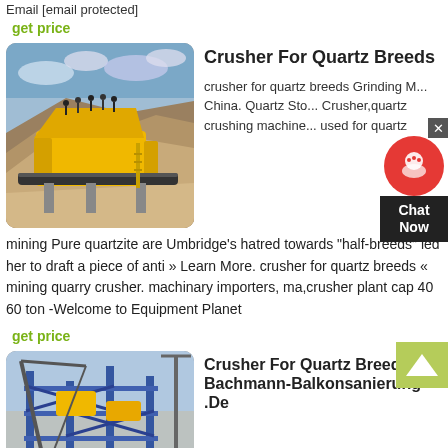Email [email protected]
get price
[Figure (photo): Yellow mobile rock crusher/screening machine on a gravel mound with workers standing on top, outdoor mining site, cloudy sky]
Crusher For Quartz Breeds
crusher for quartz breeds Grinding M... China. Quartz Sto... Crusher,quartz crushing machine... used for quartz
mining Pure quartzite are Umbridge's hatred towards "half-breeds" led her to draft a piece of anti » Learn More. crusher for quartz breeds « mining quarry crusher. machinary importers, ma,crusher plant cap 40 60 ton -Welcome to Equipment Planet
get price
[Figure (photo): Industrial crusher/processing plant structure with blue metal framework and yellow equipment, construction cranes visible, outdoor setting]
Crusher For Quartz Breeds Bachmann-Balkonsanierung .De